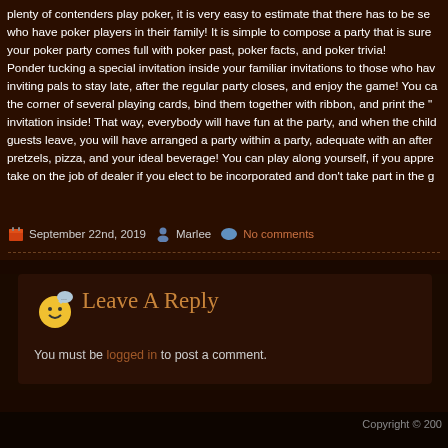plenty of contenders play poker, it is very easy to estimate that there has to be se... who have poker players in their family! It is simple to compose a party that is sure... your poker party comes full with poker past, poker facts, and poker trivia! Ponder tucking a special invitation inside your familiar invitations to those who hav... inviting pals to stay late, after the regular party closes, and enjoy the game! You ca... the corner of several playing cards, bind them together with ribbon, and print the "..." invitation inside! That way, everybody will have fun at the party, and when the child... guests leave, you will have arranged a party within a party, adequate with an after... pretzels, pizza, and your ideal beverage! You can play along yourself, if you appre... take on the job of dealer if you elect to be incorporated and don't take part in the g...
September 22nd, 2019  Marlee  No comments
Leave A Reply
You must be logged in to post a comment.
Copyright © 200...